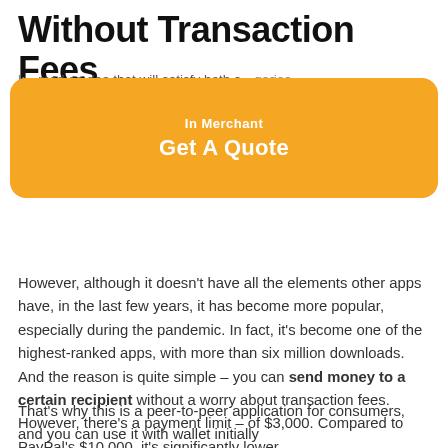Without Transaction Fees
However, although it doesn't have all the elements other apps have, in the last few years, it has become more popular, especially during the pandemic. In fact, it's become one of the highest-ranked apps, with more than six million downloads. And the reason is quite simple – you can send money to a certain recipient without a worry about transaction fees. However, there's a payment limit – of $3,000. Compared to PayPal's $10,000, it's significantly lower.
That's why this is a peer-to-peer application for consumers, and you can use it with wallet initially...